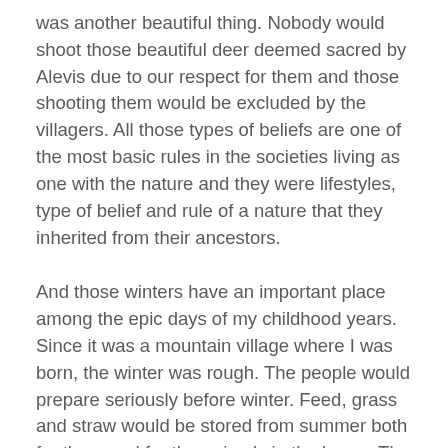was another beautiful thing. Nobody would shoot those beautiful deer deemed sacred by Alevis due to our respect for them and those shooting them would be excluded by the villagers. All those types of beliefs are one of the most basic rules in the societies living as one with the nature and they were lifestyles, type of belief and rule of a nature that they inherited from their ancestors.
And those winters have an important place among the epic days of my childhood years. Since it was a mountain village where I was born, the winter was rough. The people would prepare seriously before winter. Feed, grass and straw would be stored from summer both for them and for the animals in the barns. The winters were very rough in a mountain village without transportation or electricity. The snow would